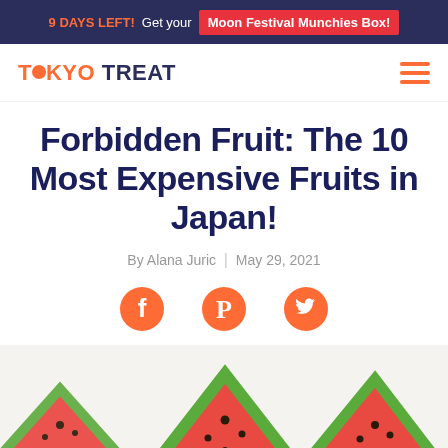9 DAYS LEFT! Get your Moon Festival Munchies Box!
[Figure (logo): TokyoTreat logo with orange circle replacing the 'O' in Tokyo, and hamburger menu icon]
Forbidden Fruit: The 10 Most Expensive Fruits in Japan!
By Alana Juric | May 29, 2021
[Figure (infographic): Social share icons: Facebook, Pinterest, Twitter in orange]
[Figure (photo): Three slices of watermelon on a light background]